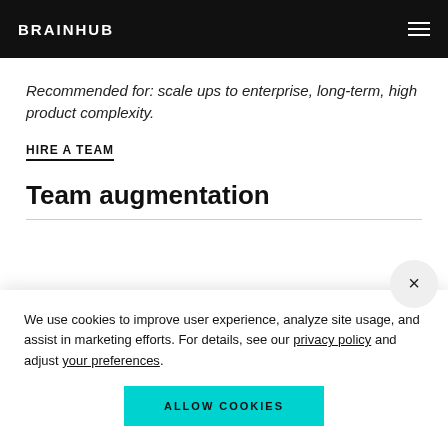BRAINHUB
Recommended for: scale ups to enterprise, long-term, high product complexity.
HIRE A TEAM
Team augmentation
We use cookies to improve user experience, analyze site usage, and assist in marketing efforts. For details, see our privacy policy and adjust your preferences.
ALLOW COOKIES